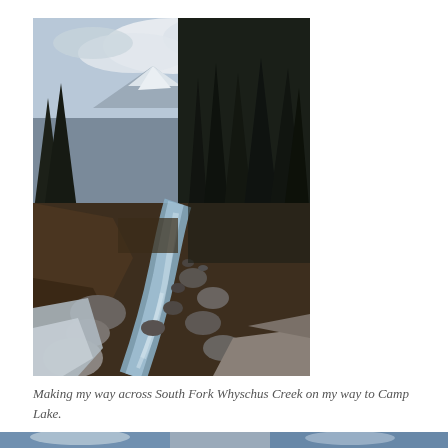[Figure (photo): Outdoor wilderness photograph showing South Fork Whyschus Creek — a rocky mountain stream flowing between banks with large boulders and rocky soil, flanked by tall dark evergreen trees (firs/pines) on the right side, and a snowy mountain peak visible in the background-left through the forest. Partly cloudy sky above. Snow or ice visible at the lower-left foreground. The lighting is overcast. The scene has a rugged, natural landscape aesthetic.]
Making my way across South Fork Whyschus Creek on my way to Camp Lake.
[Figure (photo): Partial view of another outdoor photograph at the very bottom of the page — sky and possibly clouds or mountains visible, cropped.]